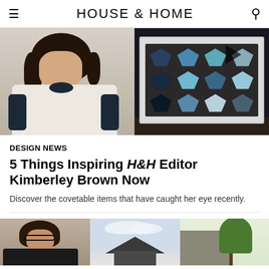HOUSE & HOME
[Figure (photo): Two images side by side: left shows a woman with dark hair wearing a patterned blouse, right shows a box of geometric gem-shaped objects in blue and grey tones with a play button overlay]
DESIGN NEWS
5 Things Inspiring H&H Editor Kimberley Brown Now
Discover the covetable items that have caught her eye recently.
[Figure (photo): Three partial images at the bottom: left shows a man with glasses and dark hair, centre shows a modern house with dark roof against a cloudy sky, right shows a building with green trees]